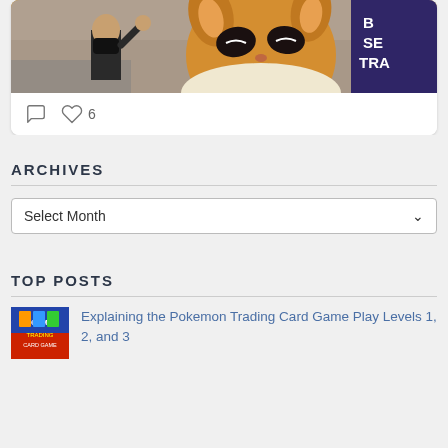[Figure (photo): Social media post with photo of a person in a Pokemon Eevee mascot costume at a convention, with a crowd in the background and a sign reading 'BU SE TRAD']
Comment icon, Heart icon, 6
ARCHIVES
Select Month
TOP POSTS
[Figure (photo): Thumbnail image of a Pokemon Trading Card Game product]
Explaining the Pokemon Trading Card Game Play Levels 1, 2, and 3